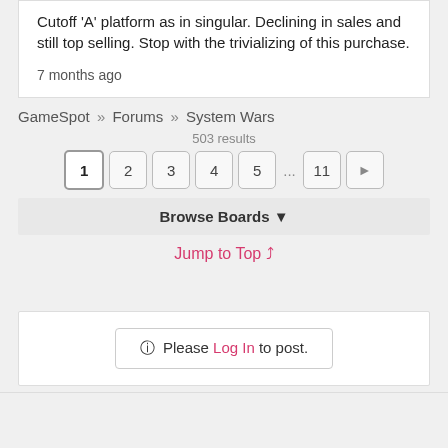Cutoff 'A' platform as in singular. Declining in sales and still top selling. Stop with the trivializing of this purchase.
7 months ago
GameSpot » Forums » System Wars
503 results
1 2 3 4 5 ... 11 →
Browse Boards ▼
Jump to Top ≫
ℹ Please Log In to post.